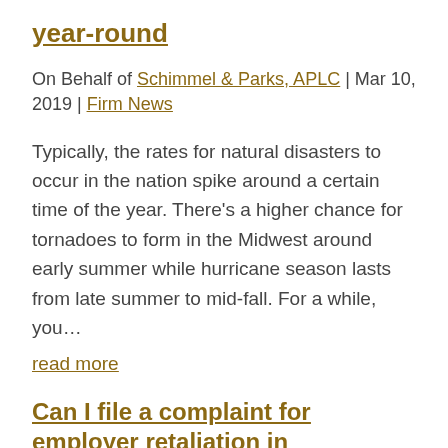year-round
On Behalf of Schimmel & Parks, APLC | Mar 10, 2019 | Firm News
Typically, the rates for natural disasters to occur in the nation spike around a certain time of the year. There’s a higher chance for tornadoes to form in the Midwest around early summer while hurricane season lasts from late summer to mid-fall. For a while, you…
read more
Can I file a complaint for employer retaliation in California?